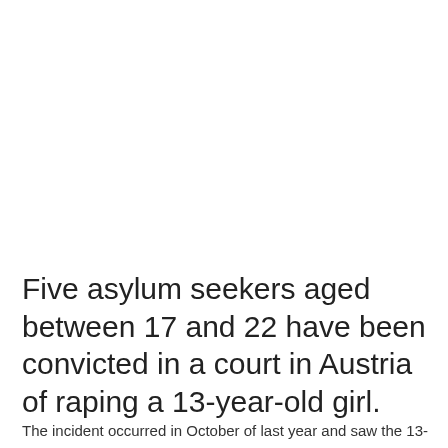Five asylum seekers aged between 17 and 22 have been convicted in a court in Austria of raping a 13-year-old girl.
The incident occurred in October of last year and saw the 13-year